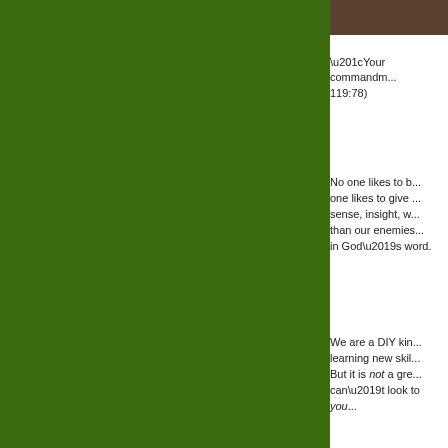[Figure (photo): Partial photo strip visible at top right, brown/dark toned image]
“Your commandm... 119:78)
No one likes to b... one likes to give ... sense, insight, w... than our enemies... in God’s word.
We are a DIY kin... learning new ski... But it is not a gre... can’t look to you...